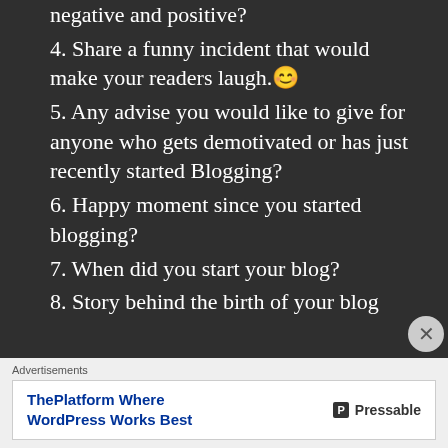about me and my blog—both negative and positive?
4. Share a funny incident that would make your readers laugh. 😊
5. Any advise you would like to give for anyone who gets demotivated or has just recently started Blogging?
6. Happy moment since you started blogging?
7. When did you start your blog?
8. Story behind the birth of your blog
Advertisements
[Figure (other): Advertisement banner for Pressable: ThePlatform Where WordPress Works Best, with Pressable logo on the right.]